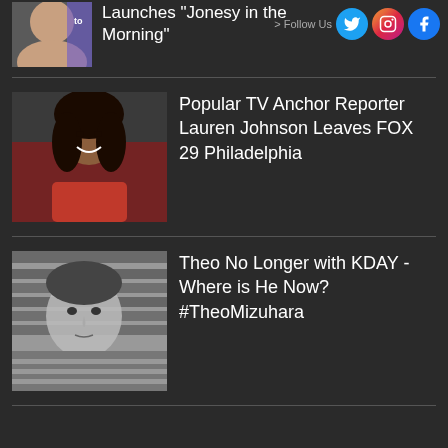Launches "Jonesy in the Morning"
> Follow Us
[Figure (photo): Social media icons: Twitter, Instagram, Facebook]
Popular TV Anchor Reporter Lauren Johnson Leaves FOX 29 Philadelphia
[Figure (photo): Photo of Lauren Johnson, woman in red top smiling]
Theo No Longer with KDAY - Where is He Now? #TheoMizuhara
[Figure (photo): Black and white photo of Theo Mizuhara]
MUSIC STREAM